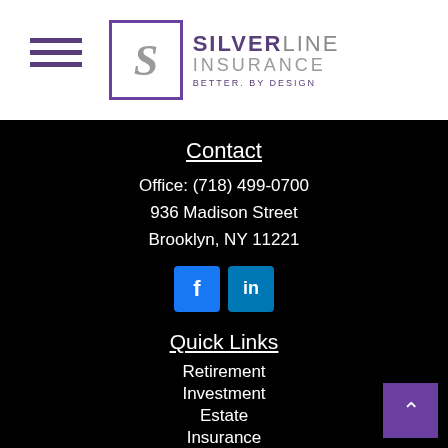[Figure (logo): SilverLine Insurance logo with purple S icon and text 'SILVERLINE INSURANCE BETTER. BY DESIGN']
Contact
Office: (718) 499-0700
936 Madison Street
Brooklyn, NY 11221
[Figure (infographic): Facebook and LinkedIn social media icon buttons]
Quick Links
Retirement
Investment
Estate
Insurance
Tax
Money
Lifestyle